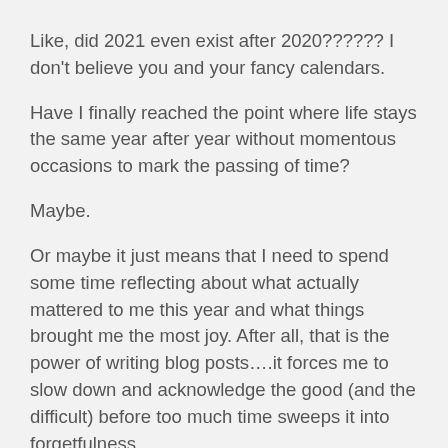Like, did 2021 even exist after 2020?????? I don't believe you and your fancy calendars.
Have I finally reached the point where life stays the same year after year without momentous occasions to mark the passing of time?
Maybe.
Or maybe it just means that I need to spend some time reflecting about what actually mattered to me this year and what things brought me the most joy. After all, that is the power of writing blog posts….it forces me to slow down and acknowledge the good (and the difficult) before too much time sweeps it into forgetfulness.
For those of you that may be new to these posts, a few reminders.